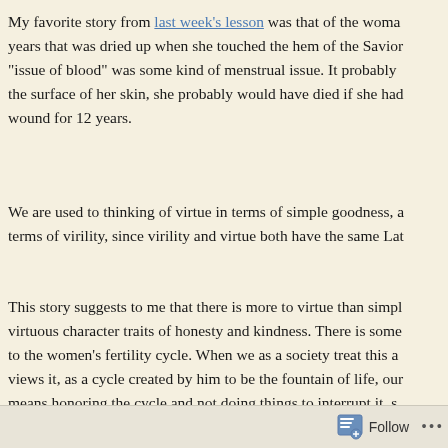My favorite story from last week's lesson was that of the woman years that was dried up when she touched the hem of the Savior "issue of blood" was some kind of menstrual issue. It probably the surface of her skin, she probably would have died if she had wound for 12 years.
We are used to thinking of virtue in terms of simple goodness, a terms of virility, since virility and virtue both have the same Lat
This story suggests to me that there is more to virtue than simpl virtuous character traits of honesty and kindness. There is some to the women's fertility cycle. When we as a society treat this a views it, as a cycle created by him to be the fountain of life, our means honoring the cycle and not doing things to interrupt it, s more about that in my chapter on fertility in my book. Click on above to find that chapter. Nancy Campbell, founder of Above R
Follow